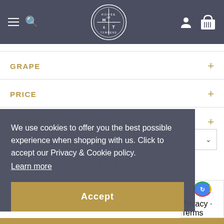House of Townend - navigation header with hamburger menu, search, logo, account and basket icons
GRAPE +
PRICE +
OTHER +
Price Ascending
< 1 2 >
We use cookies to offer you the best possible experience when shopping with us. Click to accept our Privacy & Cookie policy. Learn more
Accept